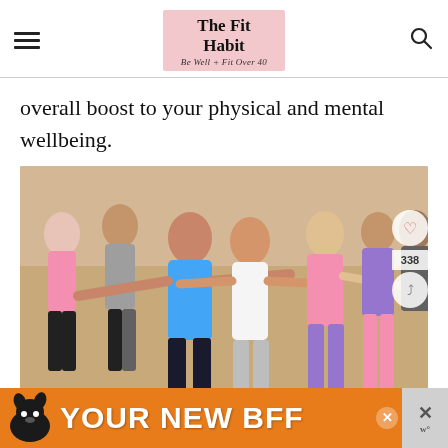The Fit Habit — Be Well + Fit Over 40
overall boost to your physical and mental wellbeing.
[Figure (photo): Group fitness class with several people in athletic wear performing a standing exercise, arms extended, in a studio with mirrors]
YOUR NEW BFF